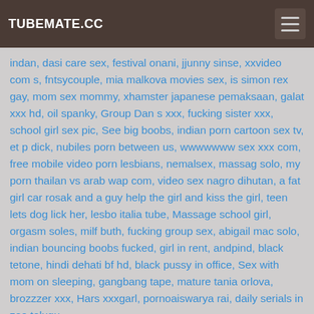TUBEMATE.CC
indan, dasi care sex, festival onani, jjunny sinse, xxvideo com s, fntsycouple, mia malkova movies sex, is simon rex gay, mom sex mommy, xhamster japanese pemaksaan, galat xxx hd, oil spanky, Group Dan s xxx, fucking sister xxx, school girl sex pic, See big boobs, indian porn cartoon sex tv, et p dick, nubiles porn between us, wwwwwww sex xxx com, free mobile video porn lesbians, nemalsex, massag solo, my porn thailan vs arab wap com, video sex nagro dihutan, a fat girl car rosak and a guy help the girl and kiss the girl, teen lets dog lick her, lesbo italia tube, Massage school girl, orgasm soles, milf buth, fucking group sex, abigail mac solo, indian bouncing boobs fucked, girl in rent, andpind, black tetone, hindi dehati bf hd, black pussy in office, Sex with mom on sleeping, gangbang tape, mature tania orlova, brozzzer xxx, Hars xxxgarl, pornoaiswarya rai, daily serials in zee telugu,